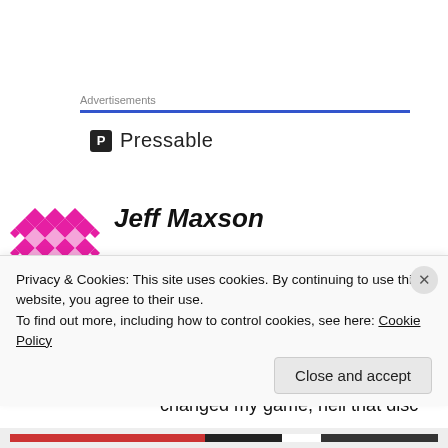Advertisements
[Figure (logo): Pressable logo with dark square P icon and text 'Pressable']
[Figure (illustration): Pink geometric diamond pattern avatar for user Jeff Maxson]
Jeff Maxson
MARCH 15, 2012 AT 5:33 PM
Even though I don't carry one anymore, the Orc completely changed my game, hell that disc
Privacy & Cookies: This site uses cookies. By continuing to use this website, you agree to their use.
To find out more, including how to control cookies, see here: Cookie Policy
Close and accept